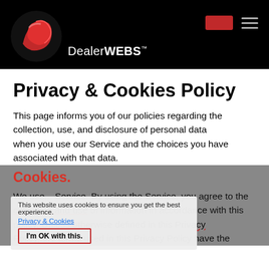[Figure (logo): DealerWEBS logo: red globe-like icon on black background with brand name 'DealerWEBS' in white, navigation icons top right]
Privacy & Cookies Policy
This page informs you of our policies regarding the collection, use, and disclosure of personal data when you use our Service and the choices you have associated with that data.
Cookies.
We use... Service. By using the Service, you agree to the collection and use of information in accordance with this policy. Unless otherwise defined in this Privacy Policy, the terms used in this Privacy Policy have the
This website uses cookies to ensure you get the best experience.
Privacy & Cookies
I'm OK with this.